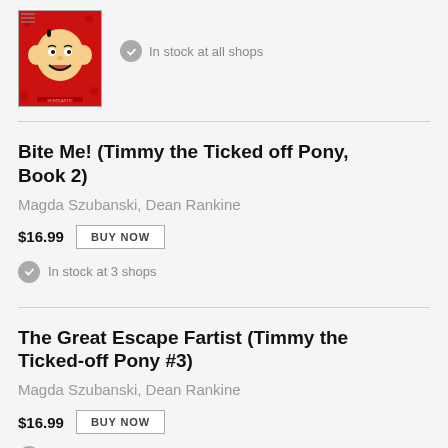[Figure (photo): Book cover image showing a cartoon character face on a red background]
In stock at all shops
Bite Me! (Timmy the Ticked off Pony, Book 2)
Magda Szubanski, Dean Rankine
$16.99  BUY NOW
In stock at 3 shops
The Great Escape Fartist (Timmy the Ticked-off Pony #3)
Magda Szubanski, Dean Rankine
$16.99  BUY NOW
In stock at 3 shops